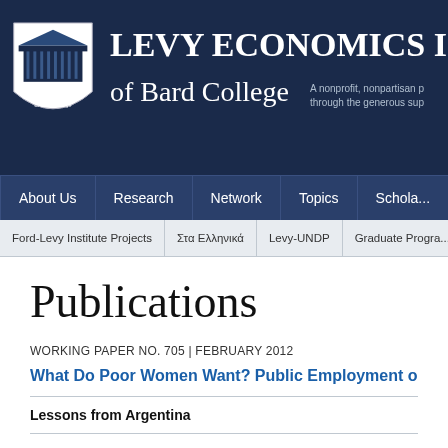[Figure (logo): Levy Economics Institute of Bard College shield logo and banner header with building silhouette]
LEVY ECONOMICS INSTITUTE of Bard College | A nonprofit, nonpartisan p... through the generous sup...
About Us
Research
Network
Topics
Schola...
Ford-Levy Institute Projects
Στα Ελληνικά
Levy-UNDP
Graduate Progra...
Publications
WORKING PAPER NO. 705 | February 2012
What Do Poor Women Want? Public Employment or Cas...
Lessons from Argentina
The literature on public employment policies such as the job guarantee (... (ELR) often emphasizes their macroeconomic stabilization effects. But ca... policies like these can also have profound social transformative effects. B...